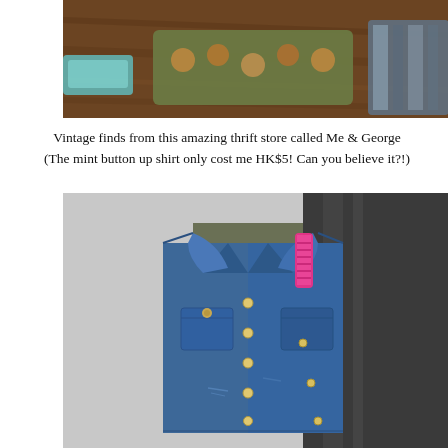[Figure (photo): Top portion of a photo showing vintage thrift store items laid out on a wooden floor, including colorful accessories and textiles.]
Vintage finds from this amazing thrift store called Me & George (The mint button up shirt only cost me HK$5! Can you believe it?!)
[Figure (photo): A denim vest layered over a camouflage patterned top, displayed hanging against a dark metallic surface with a pink strap visible at the shoulder.]